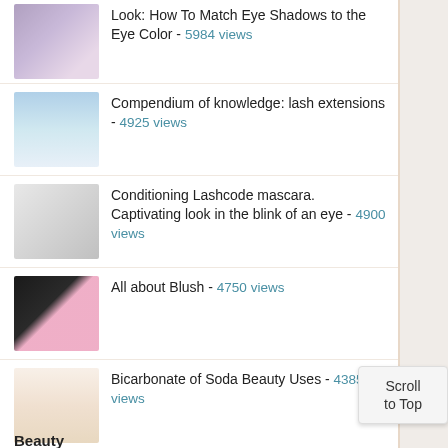Look: How To Match Eye Shadows to the Eye Color - 5984 views
Compendium of knowledge: lash extensions - 4925 views
Conditioning Lashcode mascara. Captivating look in the blink of an eye - 4900 views
All about Blush - 4750 views
Bicarbonate of Soda Beauty Uses - 4385 views
Browse By Categories
Beauty
Scroll to Top